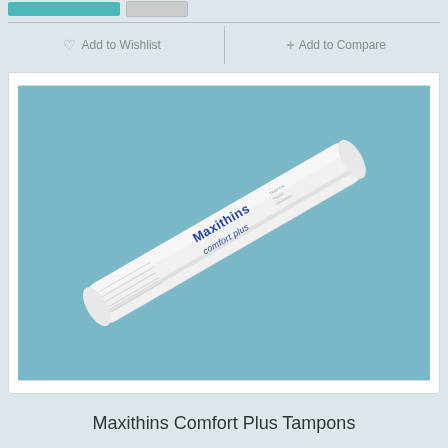Add to Wishlist
+ Add to Compare
[Figure (photo): Product photo of Maxithins Comfort Plus Tampons — a white cylindrical tampon package with blue brand lettering 'Maxithins comfort plus', shown diagonally on a light blue background.]
Maxithins Comfort Plus Tampons